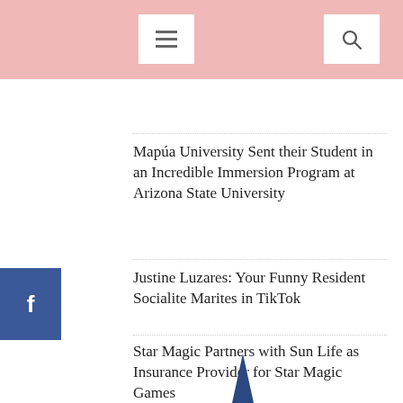Mapúa University Sent their Student in an Incredible Immersion Program at Arizona State University
Justine Luzares: Your Funny Resident Socialite Marites in TikTok
Star Magic Partners with Sun Life as Insurance Provider for Star Magic Games
MEMBERSHIP